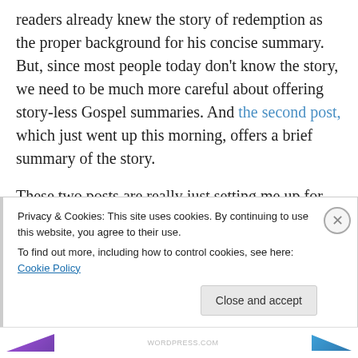readers already knew the story of redemption as the proper background for his concise summary. But, since most people today don't know the story, we need to be much more careful about offering story-less Gospel summaries. And the second post, which just went up this morning, offers a brief summary of the story.
These two posts are really just setting me up for the real focus of the series: three key ways people misunderstand the Gospel when they only hear our story-less Gospel summaries.
Privacy & Cookies: This site uses cookies. By continuing to use this website, you agree to their use. To find out more, including how to control cookies, see here: Cookie Policy